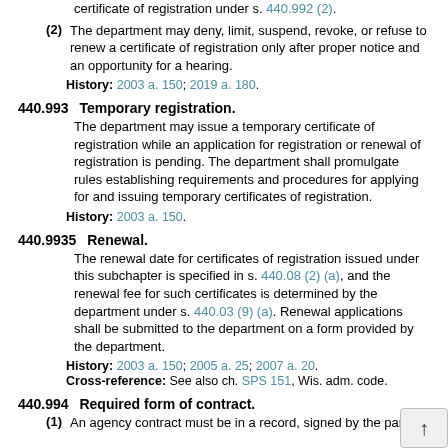certificate of registration under s. 440.992 (2).
(2) The department may deny, limit, suspend, revoke, or refuse to renew a certificate of registration only after proper notice and an opportunity for a hearing.
History: 2003 a. 150; 2019 a. 180.
440.993 Temporary registration.
The department may issue a temporary certificate of registration while an application for registration or renewal of registration is pending. The department shall promulgate rules establishing requirements and procedures for applying for and issuing temporary certificates of registration.
History: 2003 a. 150.
440.9935 Renewal.
The renewal date for certificates of registration issued under this subchapter is specified in s. 440.08 (2) (a), and the renewal fee for such certificates is determined by the department under s. 440.03 (9) (a). Renewal applications shall be submitted to the department on a form provided by the department.
History: 2003 a. 150; 2005 a. 25; 2007 a. 20.
Cross-reference: See also ch. SPS 151, Wis. adm. code.
440.994 Required form of contract.
(1) An agency contract must be in a record, signed by the parties.